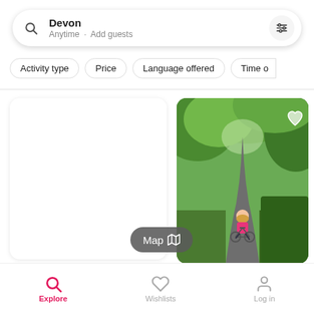[Figure (screenshot): Mobile app search bar showing 'Devon' with 'Anytime · Add guests' subtitle and filter icon]
Activity type · Price · Language offered · Time o
[Figure (photo): White blank card with a grey heart icon in top right corner]
[Figure (photo): Photo of a girl in a pink jacket riding a bicycle on a leafy green tree-lined path]
Map
Explore
Wishlists
Log in